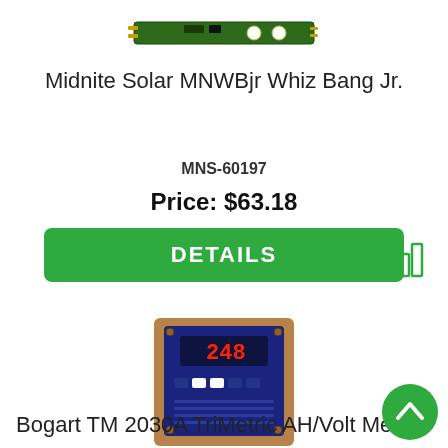[Figure (photo): Small green circuit board module (Midnite Solar MNWBjr Whiz Bang Jr.) shown from above]
Midnite Solar MNWBjr Whiz Bang Jr.
MNS-60197
Price: $63.18
DETAILS
[Figure (infographic): Green bar chart icon indicating available data or comparison]
[Figure (photo): Bogart TM 2030A TriMetric AH/Volt Meter device photo showing blue panel with red digital display]
Bogart TM 2030A TriMetric AH/Volt Mete...